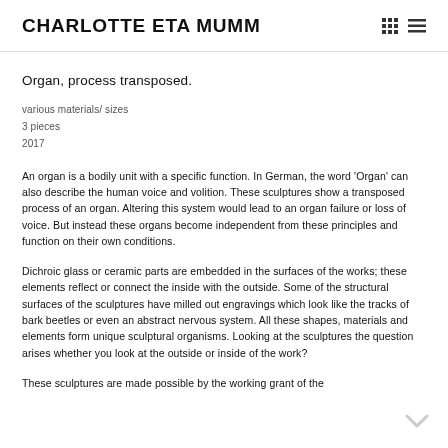CHARLOTTE ETA MUMM
Organ, process transposed.
various materials/ sizes
3 pieces
2017
An organ is a bodily unit with a specific function. In German, the word 'Organ' can also describe the human voice and volition. These sculptures show a transposed process of an organ. Altering this system would lead to an organ failure or loss of voice. But instead these organs become independent from these principles and function on their own conditions.
Dichroic glass or ceramic parts are embedded in the surfaces of the works; these elements reflect or connect the inside with the outside. Some of the structural surfaces of the sculptures have milled out engravings which look like the tracks of bark beetles or even an abstract nervous system. All these shapes, materials and elements form unique sculptural organisms. Looking at the sculptures the question arises whether you look at the outside or inside of the work?
These sculptures are made possible by the working grant of the